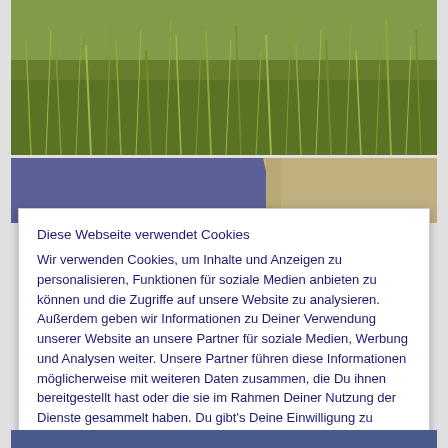[Figure (photo): Photograph of grass, wildflowers and green vegetation in natural outdoor setting]
[Figure (photo): Partial photo showing blue/purple area on left and gravel/path on right]
Diese Webseite verwendet Cookies
Wir verwenden Cookies, um Inhalte und Anzeigen zu personalisieren, Funktionen für soziale Medien anbieten zu können und die Zugriffe auf unsere Website zu analysieren. Außerdem geben wir Informationen zu Deiner Verwendung unserer Website an unsere Partner für soziale Medien, Werbung und Analysen weiter. Unsere Partner führen diese Informationen möglicherweise mit weiteren Daten zusammen, die Du ihnen bereitgestellt hast oder die sie im Rahmen Deiner Nutzung der Dienste gesammelt haben. Du gibt's Deine Einwilligung zu unseren Cookies, wenn Du unsere Webseite weiterhin nutzt. Cookie Richtlinien
Schließen und akzeptieren
[Figure (photo): Bottom strip of photo showing blue colored area]